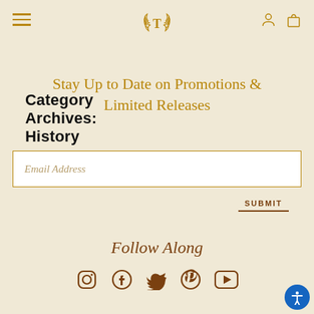Navigation bar with hamburger menu, logo, user icon, and cart icon
Category Archives: History
Stay Up to Date on Promotions & Limited Releases
Email Address (input field)
SUBMIT
Follow Along
[Figure (illustration): Social media icons row: Instagram, Facebook, Twitter, Pinterest, YouTube]